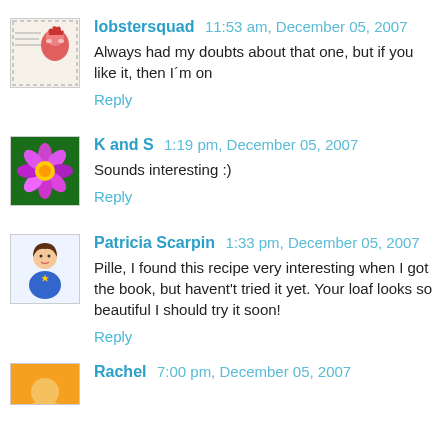lobstersquad 11:53 am, December 05, 2007
Always had my doubts about that one, but if you like it, then I´m on
Reply
K and S 1:19 pm, December 05, 2007
Sounds interesting :)
Reply
Patricia Scarpin 1:33 pm, December 05, 2007
Pille, I found this recipe very interesting when I got the book, but havent't tried it yet. Your loaf looks so beautiful I should try it soon!
Reply
Rachel 7:00 pm, December 05, 2007